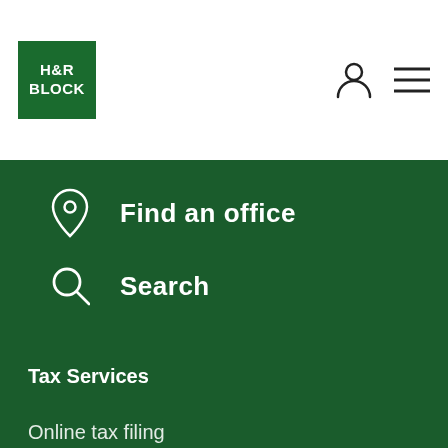[Figure (logo): H&R Block green square logo]
Find an office
Search
Tax Services
Online tax filing
File with a tax pro
Tax software
Second Look Review